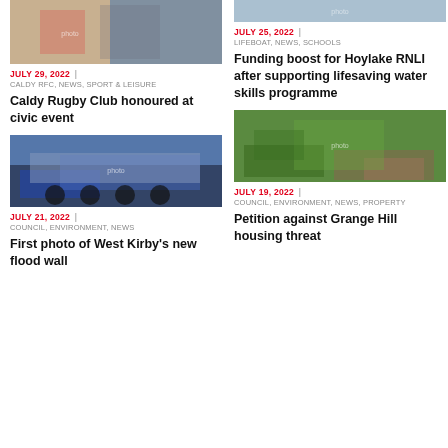[Figure (photo): Photo of people at a civic event, Caldy RFC]
JULY 29, 2022 |
CALDY RFC, NEWS, SPORT & LEISURE
Caldy Rugby Club honoured at civic event
[Figure (photo): Aerial/news photo related to Hoylake RNLI lifesaving water skills programme]
JULY 25, 2022 |
LIFEBOAT, NEWS, SCHOOLS
Funding boost for Hoylake RNLI after supporting lifesaving water skills programme
[Figure (photo): Photo of a flatbed truck carrying large equipment, West Kirby flood wall]
JULY 21, 2022 |
COUNCIL, ENVIRONMENT, NEWS
First photo of West Kirby's new flood wall
[Figure (photo): Aerial satellite view of Grange Hill area with green fields and residential areas]
JULY 19, 2022 |
COUNCIL, ENVIRONMENT, NEWS, PROPERTY
Petition against Grange Hill housing threat